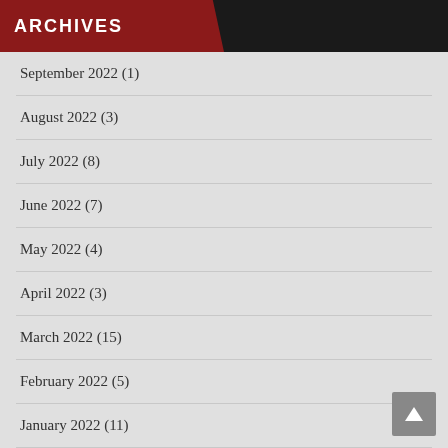ARCHIVES
September 2022 (1)
August 2022 (3)
July 2022 (8)
June 2022 (7)
May 2022 (4)
April 2022 (3)
March 2022 (15)
February 2022 (5)
January 2022 (11)
December 2021 (11)
November 2021 (16)
October 2021 (15)